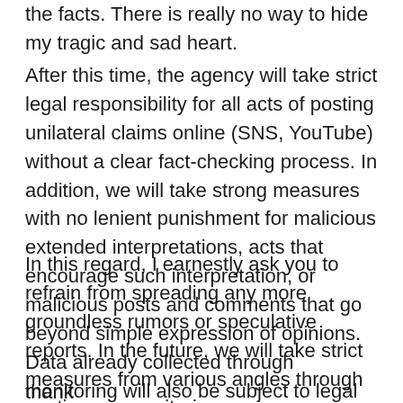the facts. There is really no way to hide my tragic and sad heart.
After this time, the agency will take strict legal responsibility for all acts of posting unilateral claims online (SNS, YouTube) without a clear fact-checking process. In addition, we will take strong measures with no lenient punishment for malicious extended interpretations, acts that encourage such interpretation, or malicious posts and comments that go beyond simple expression of opinions. Data already collected through monitoring will also be subject to legal action.
In this regard, I earnestly ask you to refrain from spreading any more groundless rumors or speculative reports. In the future, we will take strict measures from various angles through continuous monitoring.
thank